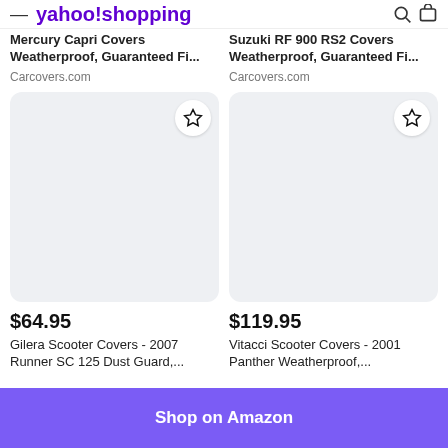yahoo shopping
Mercury Capri Covers Weatherproof, Guaranteed Fi...
Carcovers.com
Suzuki RF 900 RS2 Covers Weatherproof, Guaranteed Fi...
Carcovers.com
[Figure (other): Product image placeholder box with star/favorite button for Gilera Scooter Covers]
$64.95
Gilera Scooter Covers - 2007 Runner SC 125 Dust Guard,...
[Figure (other): Product image placeholder box with star/favorite button for Vitacci Scooter Covers]
$119.95
Vitacci Scooter Covers - 2001 Panther Weatherproof,...
Shop on Amazon